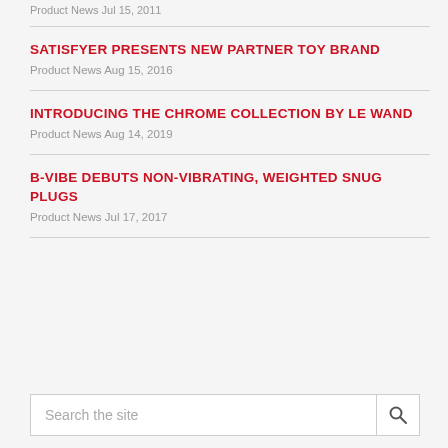Product News Jul 15, 2011
SATISFYER PRESENTS NEW PARTNER TOY BRAND
Product News Aug 15, 2016
INTRODUCING THE CHROME COLLECTION BY LE WAND
Product News Aug 14, 2019
B-VIBE DEBUTS NON-VIBRATING, WEIGHTED SNUG PLUGS
Product News Jul 17, 2017
Search the site